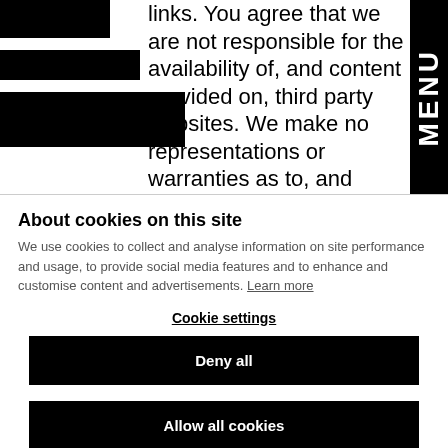links. You agree that we are not responsible for the availability of, and content provided on, third party websites. We make no representations or warranties as to, and accept no responsibility for, the accuracy of information on third party sites, or that
About cookies on this site
We use cookies to collect and analyse information on site performance and usage, to provide social media features and to enhance and customise content and advertisements. Learn more
Cookie settings
Deny all
Allow all cookies